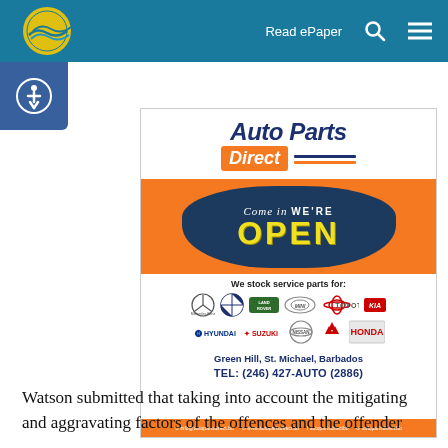Read ePaper
[Figure (advertisement): Auto Parts Direct advertisement: 'Come in WE'RE OPEN'. We stock service parts for: Mercedes-Benz, BMW, Land Rover, Mini, Toyota, Kia, Hyundai, Suzuki, Nissan, Mitsubishi, Honda. Green Hill, St. Michael, Barbados. TEL: (246) 427-AUTO (2886). Contact: info@autopartsdirect.bb, www.autopartsdirect.bb, autopartsdirectbb, autopartsdirect.bb]
Watson submitted that taking into account the mitigating and aggravating factors of the offences and the offender